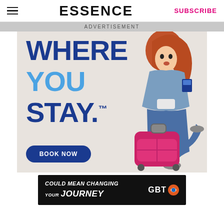ESSENCE | SUBSCRIBE
ADVERTISEMENT
[Figure (illustration): Travel advertisement showing large bold text 'WHERE YOU STAY.' in blue on a beige background with a young woman carrying luggage and a passport, with a 'BOOK NOW' button]
[Figure (illustration): Bottom banner advertisement in black: 'COULD MEAN CHANGING YOUR JOURNEY' with GBT logo]